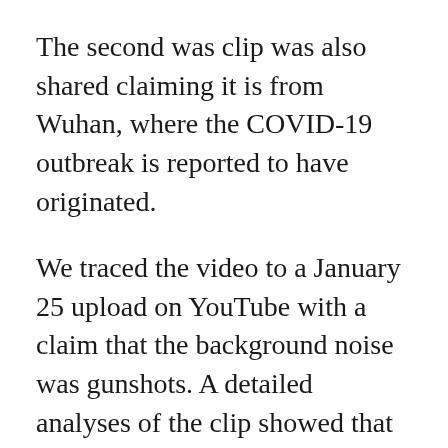The second was clip was also shared claiming it is from Wuhan, where the COVID-19 outbreak is reported to have originated.
We traced the video to a January 25 upload on YouTube with a claim that the background noise was gunshots. A detailed analyses of the clip showed that it was not gunshot but fireworks going off at a distance.